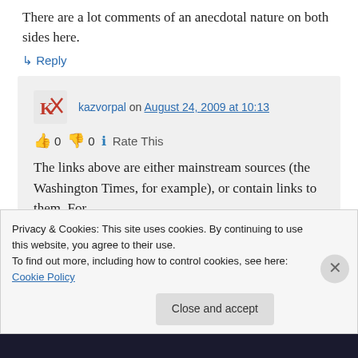There are a lot comments of an anecdotal nature on both sides here.
↳ Reply
kazvorpal on August 24, 2009 at 10:13
👍 0 👎 0 ℹ Rate This
The links above are either mainstream sources (the Washington Times, for example), or contain links to them. For
Privacy & Cookies: This site uses cookies. By continuing to use this website, you agree to their use.
To find out more, including how to control cookies, see here: Cookie Policy
Close and accept